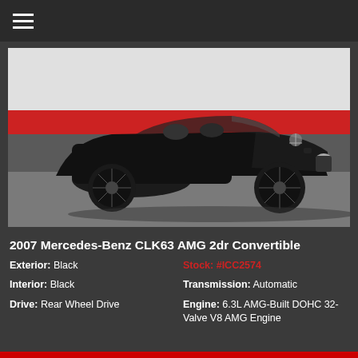☰ (hamburger menu icon)
[Figure (photo): Black 2007 Mercedes-Benz CLK63 AMG 2dr Convertible with the top down, photographed in a showroom with white and red striped wall in background, dark 5-spoke wheels, front-three-quarter view.]
2007 Mercedes-Benz CLK63 AMG 2dr Convertible
Exterior: Black | Stock: #ICC2574
Interior: Black | Transmission: Automatic
Drive: Rear Wheel Drive | Engine: 6.3L AMG-Built DOHC 32-Valve V8 AMG Engine